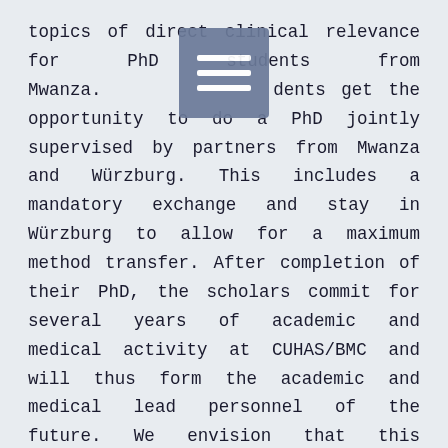topics of direct clinical relevance for PhD students from Mwanza. Students get the opportunity to do a PhD jointly supervised by partners from Mwanza and Würzburg. This includes a mandatory exchange and stay in Würzburg to allow for a maximum method transfer. After completion of their PhD, the scholars commit for several years of academic and medical activity at CUHAS/BMC and will thus form the academic and medical lead personnel of the future. We envision that this program will provide a next generation of academics in Mwanza and foster the position of CUHAS and BMC as a leading medical facility in Tanzania. Within the Else Kröner Center, up to 5 PhD positions for students that were selected in a